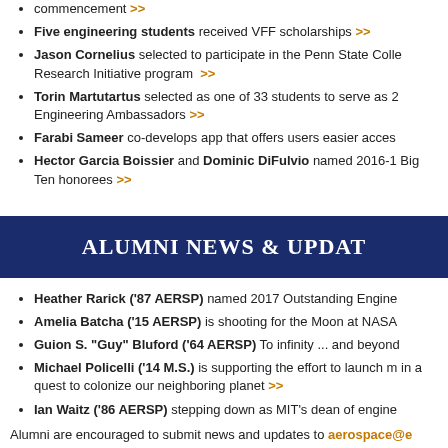commencement >>
Five engineering students received VFF scholarships >>
Jason Cornelius selected to participate in the Penn State College Research Initiative program >>
Torin Martutartus selected as one of 33 students to serve as 2 Engineering Ambassadors >>
Farabi Sameer co-develops app that offers users easier access
Hector Garcia Boissier and Dominic DiFulvio named 2016-1 Big Ten honorees >>
ALUMNI NEWS & UPDATES
Heather Rarick ('87 AERSP) named 2017 Outstanding Engineer
Amelia Batcha ('15 AERSP) is shooting for the Moon at NASA
Guion S. "Guy" Bluford ('64 AERSP) To infinity ... and beyond
Michael Policelli ('14 M.S.) is supporting the effort to launch m in a quest to colonize our neighboring planet >>
Ian Waitz ('86 AERSP) stepping down as MIT's dean of engineering
Alumni are encouraged to submit news and updates to aerospace@e
[Figure (infographic): Ad banner with dark blue background showing 'Get your 1-year master's degree' in orange bold text and 'New Programs. New Perspective.' in white, with a partial image of person on right side]